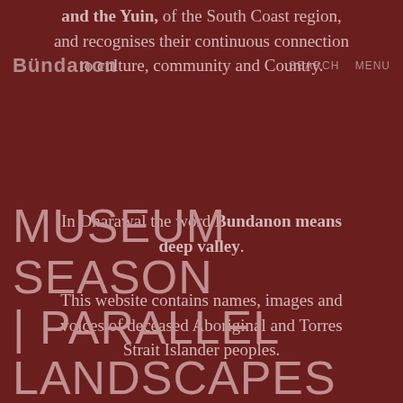Bundanon   SEARCH   MENU
and the Yuin, of the South Coast region, and recognises their continuous connection to culture, community and Country.
In Dharawal the word Bundanon means deep valley.
This website contains names, images and voices of deceased Aboriginal and Torres Strait Islander peoples.
MUSEUM SEASON | PARALLEL LANDSCAPES